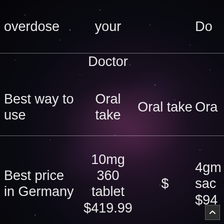|  |  |  |  |
| --- | --- | --- | --- |
| overdose | your |  | Do |
|  | Doctor |  |  |
| Best way to use | Oral take | Oral take | Ora |
| Best price in Germany | 10mg 360 tablet $419.99 | $ | 4gm sac $94 |